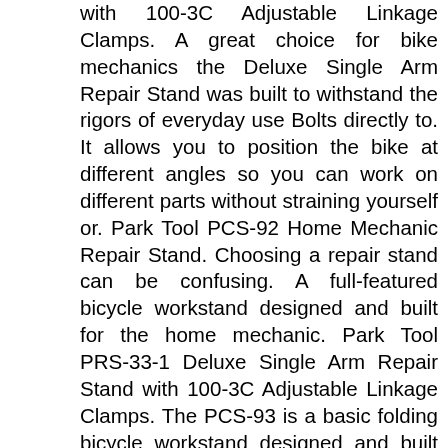with 100-3C Adjustable Linkage Clamps. A great choice for bike mechanics the Deluxe Single Arm Repair Stand was built to withstand the rigors of everyday use Bolts directly to. It allows you to position the bike at different angles so you can work on different parts without straining yourself or. Park Tool PCS-92 Home Mechanic Repair Stand. Choosing a repair stand can be confusing. A full-featured bicycle workstand designed and built for the home mechanic. Park Tool PRS-33-1 Deluxe Single Arm Repair Stand with 100-3C Adjustable Linkage Clamps. The PCS-93 is a basic folding bicycle workstand designed and built for the home mechanic a stable way to hold nearly any bike off the ground for adjustments cleaning and repair. Park Tool Bike Repair Stands - Lowest Prices and Free shipping available from the worlds largest online bike store - Chain Reaction Cycles. To help guide you through the process Park Tool president Eric Hawkins guides